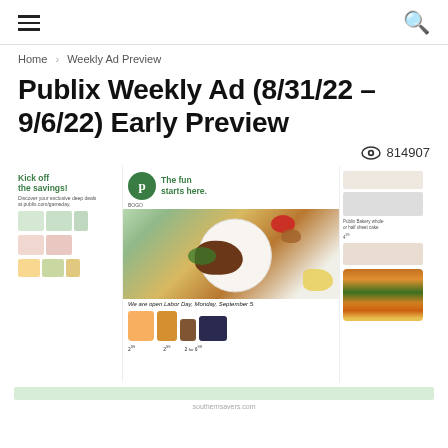≡  🔍
Home › Weekly Ad Preview
Publix Weekly Ad (8/31/22 – 9/6/22) Early Preview
👁 814907
[Figure (screenshot): Publix weekly ad preview showing the front page of the circular with Publix logo, 'The fun starts here.' tagline, food imagery including a grilled steak with tomatoes and greens on a plate, 'Kick off the savings!' text on left panel, 'We are open Labor Day, Monday, September 5.' text, and various grocery product images along the bottom and right side.]